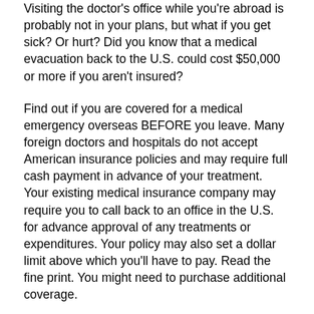Visiting the doctor's office while you're abroad is probably not in your plans, but what if you get sick? Or hurt? Did you know that a medical evacuation back to the U.S. could cost $50,000 or more if you aren't insured?
Find out if you are covered for a medical emergency overseas BEFORE you leave. Many foreign doctors and hospitals do not accept American insurance policies and may require full cash payment in advance of your treatment. Your existing medical insurance company may require you to call back to an office in the U.S. for advance approval of any treatments or expenditures. Your policy may also set a dollar limit above which you'll have to pay. Read the fine print. You might need to purchase additional coverage.
Before You Leave:
Check your current health insurance policy. Are you